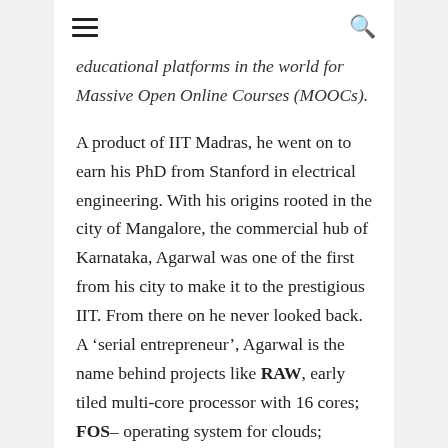☰  🔍
educational platforms in the world for Massive Open Online Courses (MOOCs).
A product of IIT Madras, he went on to earn his PhD from Stanford in electrical engineering. With his origins rooted in the city of Mangalore, the commercial hub of Karnataka, Agarwal was one of the first from his city to make it to the prestigious IIT. From there on he never looked back. A 'serial entrepreneur', Agarwal is the name behind projects like RAW, early tiled multi-core processor with 16 cores; FOS– operating system for clouds; OXYGEN – a pervasive human-centred